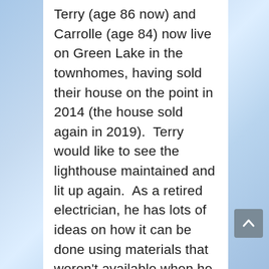Terry (age 86 now) and Carrolle (age 84) now live on Green Lake in the townhomes, having sold their house on the point in 2014 (the house sold again in 2019).  Terry would like to see the lighthouse maintained and lit up again.  As a retired electrician, he has lots of ideas on how it can be done using materials that weren't available when he built